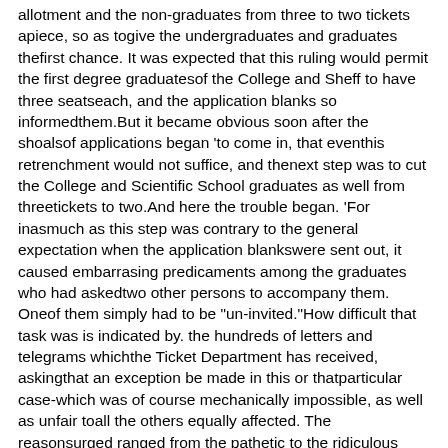allotment and the non-graduates from three to two tickets apiece, so as togive the undergraduates and graduates thefirst chance. It was expected that this ruling would permit the first degree graduatesof the College and Sheff to have three seatseach, and the application blanks so informedthem.But it became obvious soon after the shoalsof applications began 'to come in, that eventhis retrenchment would not suffice, and thenext step was to cut the College and Scientific School graduates as well from threetickets to two.And here the trouble began. 'For inasmuch as this step was contrary to the general expectation when the application blankswere sent out, it caused embarrasing predicaments among the graduates who had askedtwo other persons to accompany them. Oneof them simply had to be "un-invited."How difficult that task was is indicated by. the hundreds of letters and telegrams whichthe Ticket Department has received, askingthat an exception be made in this or thatparticular case-which was of course mechanically impossible, as well as unfair toall the others equally affected. The reasonsurged ranged from the pathetic to the ridiculous (except to the applicant!); each .perfectly good in the' mind of the writer who�an!s his tickets, but all together fo;ming,111 VIew of the actual situation in the ticketo ffic e, a curious collection.One. loyal Yale man tabulated, with subhead�, el�ven. points bearing upon his J?leafor hIS third ticket, the final and most urgentone being that his two children, whom hehad invited to attend with him, would nowbe undergraduates at Yale had it not sohappened that they are